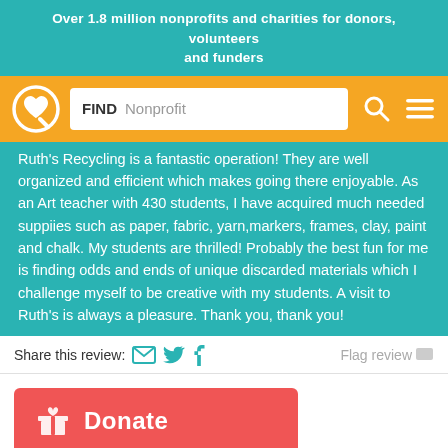Over 1.8 million nonprofits and charities for donors, volunteers and funders
[Figure (screenshot): Navigation bar with logo (heart icon), search box with FIND Nonprofit placeholder, search icon, and hamburger menu icon on orange background]
Ruth's Recycling is a fantastic operation! They are well organized and efficient which makes going there enjoyable. As an Art teacher with 430 students, I have acquired much needed supplies such as paper, fabric, yarn,markers, frames, clay, paint and chalk. My students are thrilled! Probably the best fun for me is finding odds and ends of unique discarded materials which I challenge myself to be creative with my students. A visit to Ruth's is always a pleasure. Thank you, thank you!
Share this review:  Flag review
Donate